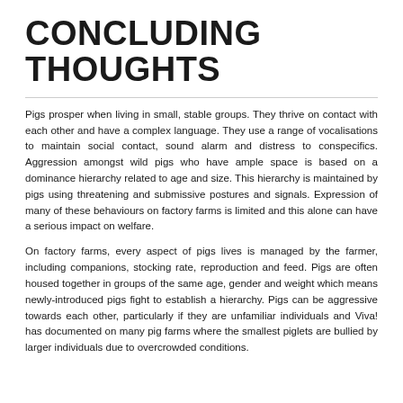CONCLUDING THOUGHTS
Pigs prosper when living in small, stable groups. They thrive on contact with each other and have a complex language. They use a range of vocalisations to maintain social contact, sound alarm and distress to conspecifics. Aggression amongst wild pigs who have ample space is based on a dominance hierarchy related to age and size. This hierarchy is maintained by pigs using threatening and submissive postures and signals. Expression of many of these behaviours on factory farms is limited and this alone can have a serious impact on welfare.
On factory farms, every aspect of pigs lives is managed by the farmer, including companions, stocking rate, reproduction and feed. Pigs are often housed together in groups of the same age, gender and weight which means newly-introduced pigs fight to establish a hierarchy. Pigs can be aggressive towards each other, particularly if they are unfamiliar individuals and Viva! has documented on many pig farms where the smallest piglets are bullied by larger individuals due to overcrowded conditions.